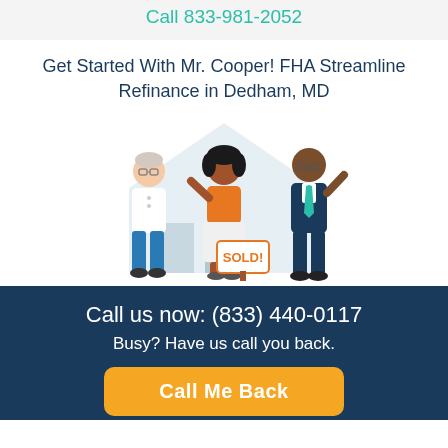Call 833-981-2052
Get Started With Mr. Cooper! FHA Streamline Refinance in Dedham, MD
[Figure (illustration): Illustration of three people (older man, young woman, man in suit) standing in front of a house silhouette with a SOLD! sign]
Call us now: (833) 440-0117
Busy? Have us call you back.
Call Me Back